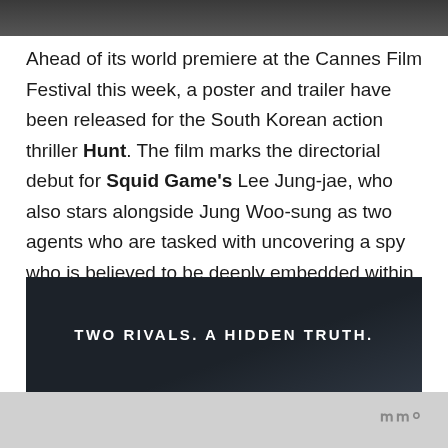[Figure (photo): Top portion of a dark photo showing two men, partially cropped at the top of the page]
Ahead of its world premiere at the Cannes Film Festival this week, a poster and trailer have been released for the South Korean action thriller Hunt. The film marks the directorial debut for Squid Game's Lee Jung-jae, who also stars alongside Jung Woo-sung as two agents who are tasked with uncovering a spy who is believed to be deeply embedded within their agency; take a look here…
[Figure (screenshot): Dark movie promotional image with white text reading TWO RIVALS. A HIDDEN TRUTH.]
[Figure (logo): Light grey strip at the bottom with a stylized logo mark in grey on the right side]